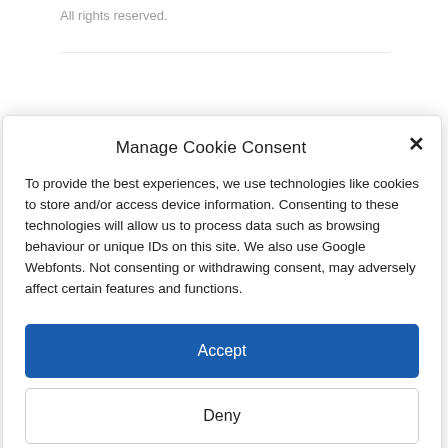All rights reserved.
Manage Cookie Consent
To provide the best experiences, we use technologies like cookies to store and/or access device information. Consenting to these technologies will allow us to process data such as browsing behaviour or unique IDs on this site. We also use Google Webfonts. Not consenting or withdrawing consent, may adversely affect certain features and functions.
Accept
Deny
View preferences
Cookie Policy   GDPR   Impressum / Imprint